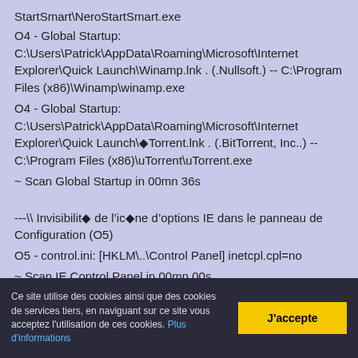StartSmart\NeroStartSmart.exe
O4 - Global Startup: C:\Users\Patrick\AppData\Roaming\Microsoft\Internet Explorer\Quick Launch\Winamp.lnk . (.Nullsoft.) -- C:\Program Files (x86)\Winamp\winamp.exe
O4 - Global Startup: C:\Users\Patrick\AppData\Roaming\Microsoft\Internet Explorer\Quick Launch\◆Torrent.lnk . (.BitTorrent, Inc..) -- C:\Program Files (x86)\uTorrent\uTorrent.exe
~ Scan Global Startup in 00mn 36s
---\\ Invisibilité de l'icône d'options IE dans le panneau de Configuration (O5)
O5 - control.ini: [HKLM\..\Control Panel] inetcpl.cpl=no
~ Scan IE Control Panel in 00mn 00s
Ce site utilise des cookies ainsi que des cookies de services tiers, en naviguant sur ce site vous acceptez l'utilisation de ces cookies. Plus d'informations